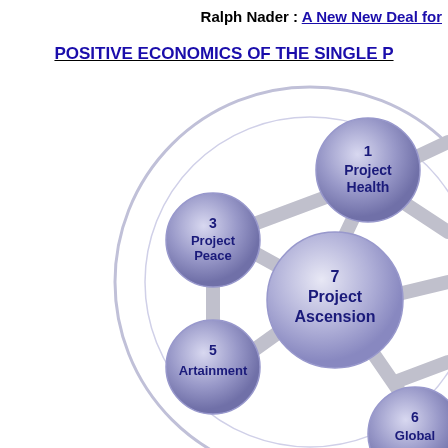Ralph Nader : A New New Deal for
POSITIVE ECONOMICS OF THE SINGLE P
[Figure (infographic): A network diagram showing interconnected spherical nodes arranged in a flower-of-life / hexagonal pattern. Visible nodes: 1 Project Health (top right), 3 Project Peace (middle left), 5 Artainment (lower left), 7 Project Ascension (center right, larger), 6 Global (bottom right, partially visible). Nodes are connected by thick gray bars forming a hexagonal lattice, enclosed in a large circle. Node labels are in dark blue bold text.]